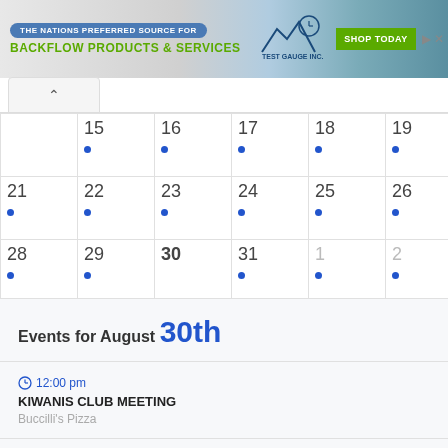[Figure (screenshot): Banner advertisement for Test Gauge Inc. - Backflow Products & Services with Shop Today button]
|  | 15 | 16 | 17 | 18 | 19 | 20 |
| --- | --- | --- | --- | --- | --- | --- |
|  | • | • | • | • | • | • |
| 21 | 22 | 23 | 24 | 25 | 26 | 27 |
|  | • | • | • | • | • | • |
| 28 | 29 | 30 | 31 | 1 | 2 | 3 |
| • | • |  | • | • | • | • |
Events for August 30th
12:00 pm
KIWANIS CLUB MEETING
Buccilli's Pizza
12:00 pm - 1:00 pm
SMART RECOVERY MEETINGS